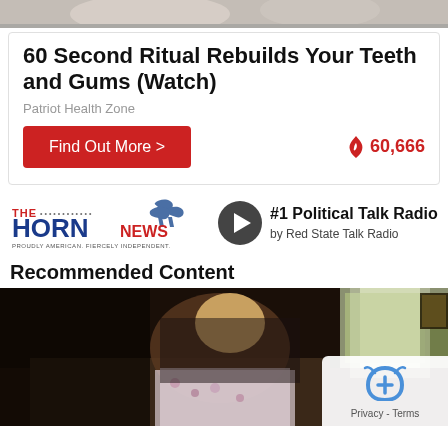[Figure (photo): Top partial image of people, cropped at top of page]
60 Second Ritual Rebuilds Your Teeth and Gums (Watch)
Patriot Health Zone
Find Out More >
60,666
[Figure (logo): The Horn News logo with bull graphic and text PROUDLY AMERICAN. FIERCELY INDEPENDENT. with play button and #1 Political Talk Radio by Red State Talk Radio]
Recommended Content
[Figure (photo): Photo of a person in a floral robe sitting on a bed, hunched over, with a curtained window and framed picture in background. A reCAPTCHA Privacy - Terms badge in the bottom right corner.]